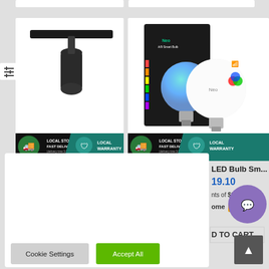[Figure (screenshot): E-commerce product listing page showing two product cards: a black track spotlight fixture and a smart LED bulb package. Both cards show 'LOCAL STOCK FAST DELIVERY' and 'LOCAL WARRANTY' badges. A cookie consent dialog overlays the bottom portion of the page with text about cookie usage and two buttons: 'Cookie Settings' and 'Accept All'. A purple chat button and a gray scroll-to-top button are visible on the right side.]
We use cookies on our website to give you the most relevant experience by remembering your preferences and repeat visits. By clicking “Accept All”, you consent to the use of ALL the cookies. However, you may visit "Cookie Settings" to provide a controlled consent.
Cookie Settings
Accept All
LED Bulb Sm...
19.10
nts of $6.
ome
D TO CART